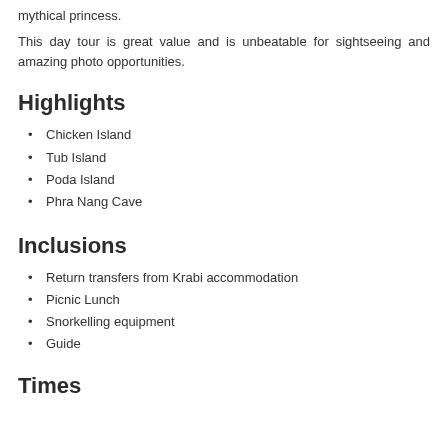mythical princess.
This day tour is great value and is unbeatable for sightseeing and amazing photo opportunities.
Highlights
Chicken Island
Tub Island
Poda Island
Phra Nang Cave
Inclusions
Return transfers from Krabi accommodation
Picnic Lunch
Snorkelling equipment
Guide
Times